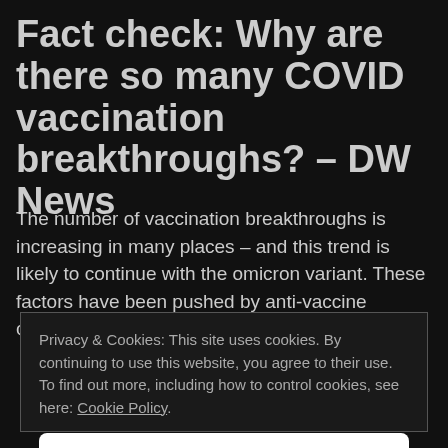Fact check: Why are there so many COVID vaccination breakthroughs? – DW News
The number of vaccination breakthroughs is increasing in many places – and this trend is likely to continue with the omicron variant. These factors have been pushed by anti-vaccine campaigns online. But do
Privacy & Cookies: This site uses cookies. By continuing to use this website, you agree to their use.
To find out more, including how to control cookies, see here: Cookie Policy.
Close and accept